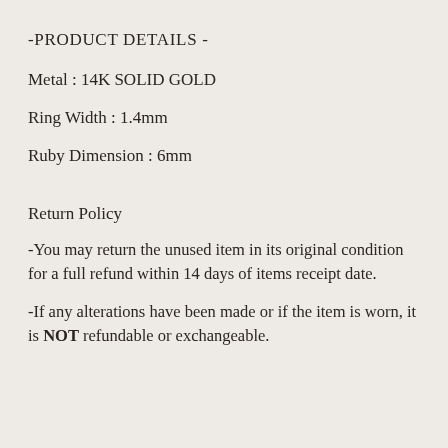-PRODUCT DETAILS -
Metal : 14K SOLID GOLD
Ring Width : 1.4mm
Ruby Dimension : 6mm
Return Policy
-You may return the unused item in its original condition for a full refund within 14 days of items receipt date.
-If any alterations have been made or if the item is worn, it is NOT refundable or exchangeable.